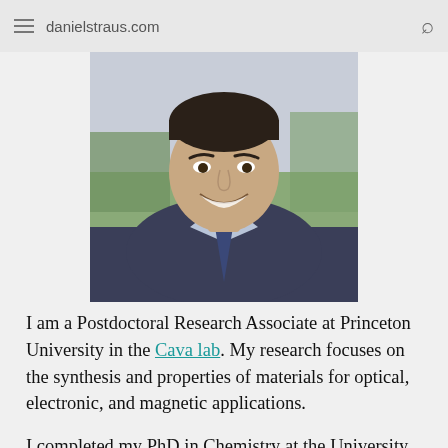danielstraus.com
[Figure (photo): Headshot photo of Daniel Straus, a young man in a dark suit and striped shirt, smiling, with an outdoor background]
I am a Postdoctoral Research Associate at Princeton University in the Cava lab. My research focuses on the synthesis and properties of materials for optical, electronic, and magnetic applications.
I completed my PhD in Chemistry at the University of Pennsylvania, where I focused on optical and electronic spectroscopy of 2D